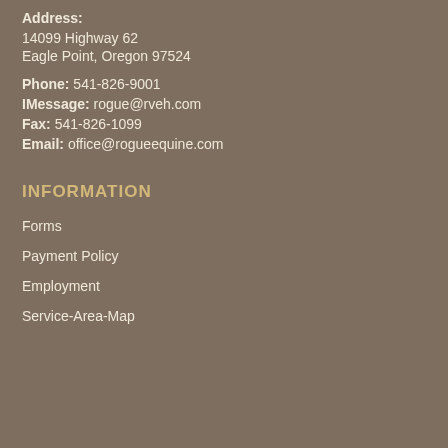Address:
14099 Highway 62
Eagle Point, Oregon 97524
Phone: 541-826-9001
IMessage: rogue@rveh.com
Fax: 541-826-1099
Email: office@rogueequine.com
INFORMATION
Forms
Payment Policy
Employment
Service-Area-Map